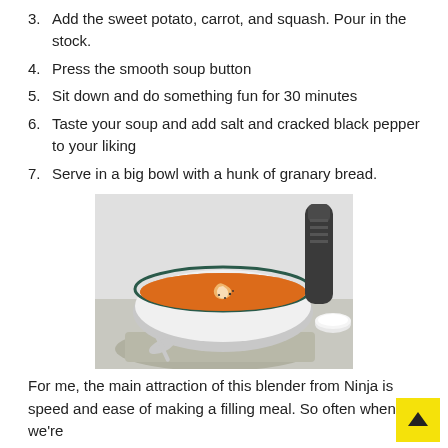3. Add the sweet potato, carrot, and squash. Pour in the stock.
4. Press the smooth soup button
5. Sit down and do something fun for 30 minutes
6. Taste your soup and add salt and cracked black pepper to your liking
7. Serve in a big bowl with a hunk of granary bread.
[Figure (photo): A white bowl with teal/dark rim filled with smooth orange soup (sweet potato/squash), garnished with a swirl of cream and cracked black pepper, sitting on a grey linen napkin with a spoon, with a pepper grinder and salt bowl in the background.]
For me, the main attraction of this blender from Ninja is speed and ease of making a filling meal. So often when we're